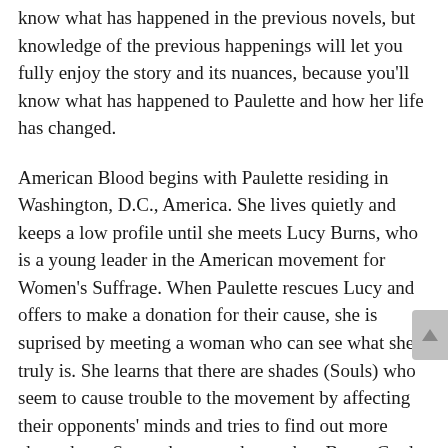know what has happened in the previous novels, but knowledge of the previous happenings will let you fully enjoy the story and its nuances, because you'll know what has happened to Paulette and how her life has changed.
American Blood begins with Paulette residing in Washington, D.C., America. She lives quietly and keeps a low profile until she meets Lucy Burns, who is a young leader in the American movement for Women's Suffrage. When Paulette rescues Lucy and offers to make a donation for their cause, she is suprised by meeting a woman who can see what she truly is. She learns that there are shades (Souls) who seem to cause trouble to the movement by affecting their opponents' minds and tries to find out more about them. Soon, she meets her maker, Bryan Card, and is not happy about meeting him, for she knows that he can cause problems…